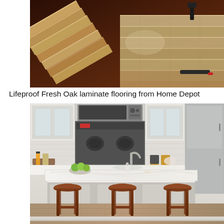[Figure (photo): Laminate flooring planks stacked diagonally on a dark hardwood floor during installation, with a rubber mallet visible in the background. Light oak colored planks being laid next to darker existing floor.]
Lifeproof Fresh Oak laminate flooring from Home Depot
[Figure (photo): Modern kitchen interior with white cabinetry featuring glass-front upper cabinets, stainless steel appliances including microwave and refrigerator, marble-look backsplash and countertops, a large kitchen island with white quartz countertop, and three brown wooden saddle bar stools. Items on the island include a bowl of green apples, soap dispenser, and various kitchen items.]